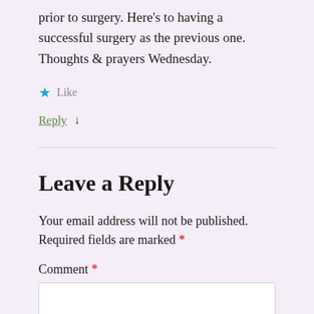prior to surgery. Here's to having a successful surgery as the previous one. Thoughts & prayers Wednesday.
★ Like
Reply ↓
Leave a Reply
Your email address will not be published. Required fields are marked *
Comment *